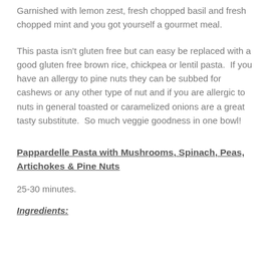Garnished with lemon zest, fresh chopped basil and fresh chopped mint and you got yourself a gourmet meal.
This pasta isn't gluten free but can easy be replaced with a good gluten free brown rice, chickpea or lentil pasta.  If you have an allergy to pine nuts they can be subbed for cashews or any other type of nut and if you are allergic to nuts in general toasted or caramelized onions are a great tasty substitute.  So much veggie goodness in one bowl!
Pappardelle Pasta with Mushrooms, Spinach, Peas, Artichokes & Pine Nuts
25-30 minutes.
Ingredients: